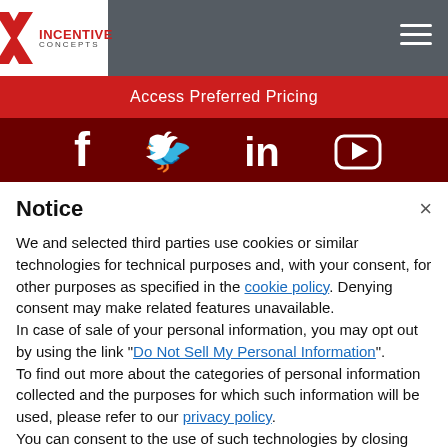[Figure (logo): Incentive Concepts logo with stylized X icon in red and company name]
Access Preferred Pricing
[Figure (infographic): Social media icons bar: Facebook, Twitter, LinkedIn, YouTube on dark red background]
Notice
We and selected third parties use cookies or similar technologies for technical purposes and, with your consent, for other purposes as specified in the cookie policy. Denying consent may make related features unavailable.
In case of sale of your personal information, you may opt out by using the link "Do Not Sell My Personal Information".
To find out more about the categories of personal information collected and the purposes for which such information will be used, please refer to our privacy policy.
You can consent to the use of such technologies by closing this notice, by scrolling this page, by interacting with any link or button outside of this notice or by continuing to browse otherwise.